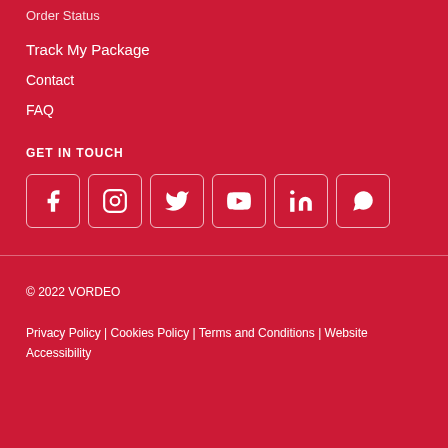Order Status
Track My Package
Contact
FAQ
GET IN TOUCH
[Figure (other): Social media icons row: Facebook, Instagram, Twitter, YouTube, LinkedIn, WhatsApp — each in a rounded square border]
© 2022 VORDEO
Privacy Policy | Cookies Policy | Terms and Conditions | Website Accessibility